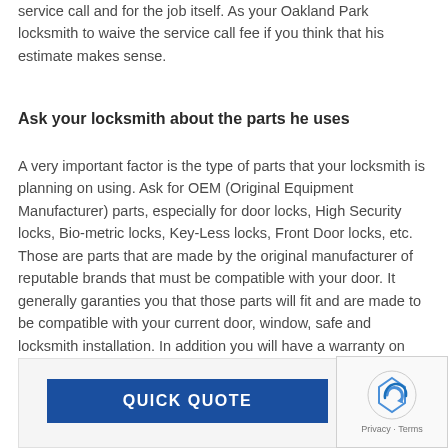service call and for the job itself. Ask your Oakland Park locksmith to waive the service call fee if you think that his estimate makes sense.
Ask your locksmith about the parts he uses
A very important factor is the type of parts that your locksmith is planning on using. Ask for OEM (Original Equipment Manufacturer) parts, especially for door locks, High Security locks, Bio-metric locks, Key-Less locks, Front Door locks, etc. Those are parts that are made by the original manufacturer of reputable brands that must be compatible with your door. It generally garanties you that those parts will fit and are made to be compatible with your current door, window, safe and locksmith installation. In addition you will have a warranty on these parts in case they should break within typically 1 year.
QUICK QUOTE